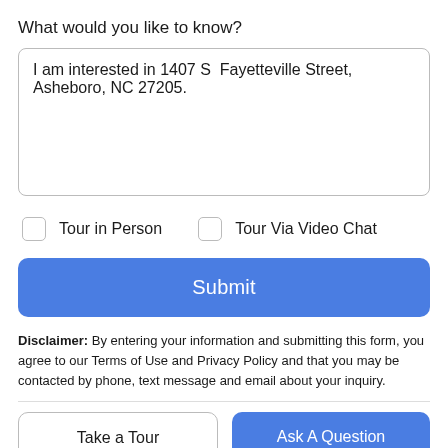What would you like to know?
I am interested in 1407 S  Fayetteville Street, Asheboro, NC 27205.
Tour in Person
Tour Via Video Chat
Submit
Disclaimer: By entering your information and submitting this form, you agree to our Terms of Use and Privacy Policy and that you may be contacted by phone, text message and email about your inquiry.
Take a Tour
Ask A Question